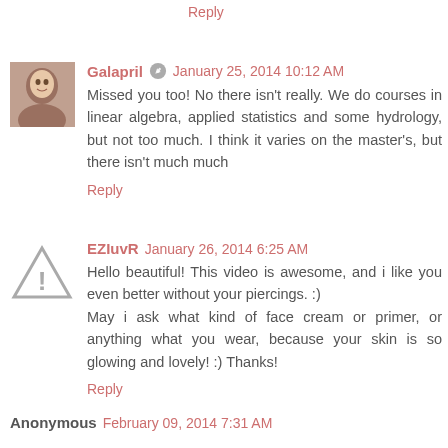Reply
Galapril  January 25, 2014 10:12 AM
Missed you too! No there isn't really. We do courses in linear algebra, applied statistics and some hydrology, but not too much. I think it varies on the master's, but there isn't much much
Reply
EZIuvR  January 26, 2014 6:25 AM
Hello beautiful! This video is awesome, and i like you even better without your piercings. :)
May i ask what kind of face cream or primer, or anything what you wear, because your skin is so glowing and lovely! :) Thanks!
Reply
Anonymous  February 09, 2014 7:31 AM